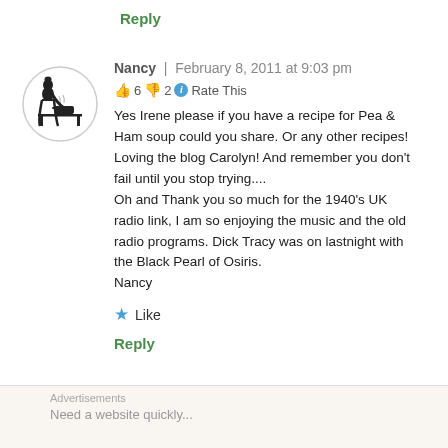Reply
[Figure (illustration): Circular avatar illustration of a silhouette woman in vintage style standing at a table, line art inside a circle border]
Nancy | February 8, 2011 at 9:03 pm
👍 6 👎 2 ℹ Rate This
Yes Irene please if you have a recipe for Pea & Ham soup could you share. Or any other recipes! Loving the blog Carolyn! And remember you don't fail until you stop trying....
Oh and Thank you so much for the 1940's UK radio link, I am so enjoying the music and the old radio programs. Dick Tracy was on lastnight with the Black Pearl of Osiris.
Nancy
★ Like
Reply
Advertisements
Need a website quickly...